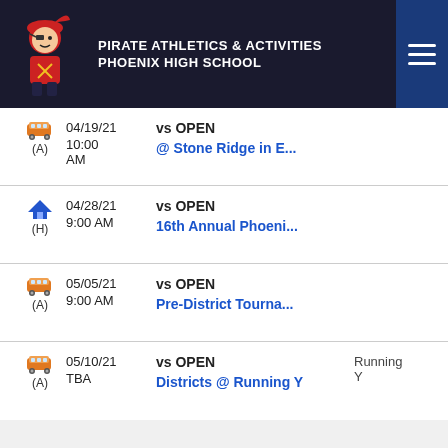PIRATE ATHLETICS & ACTIVITIES
PHOENIX HIGH SCHOOL
| Icon/Venue | Date/Time | Opponent | Notes |
| --- | --- | --- | --- |
| Bus (A) | 04/19/21
10:00 AM | vs OPEN
@ Stone Ridge in E... |  |
| Home (H) | 04/28/21
9:00 AM | vs OPEN
16th Annual Phoeni... |  |
| Bus (A) | 05/05/21
9:00 AM | vs OPEN
Pre-District Tourna... |  |
| Bus (A) | 05/10/21
TBA | vs OPEN
Districts @ Running Y | Running
Y |